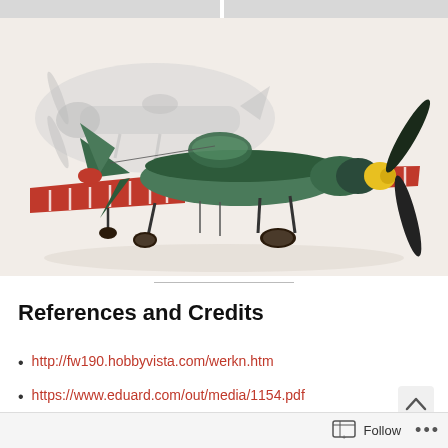[Figure (photo): Partially visible model aircraft photographs at the top of the page, cut off at top edge.]
[Figure (photo): Scale model of a WWII Focke-Wulf FW 190 fighter aircraft with red and white striped wings, yellow propeller spinner, and dark green fuselage, displayed on a white surface with a black and white historical photograph visible in the background.]
References and Credits
http://fw190.hobbyvista.com/werkn.htm
https://www.eduard.com/out/media/1154.pdf